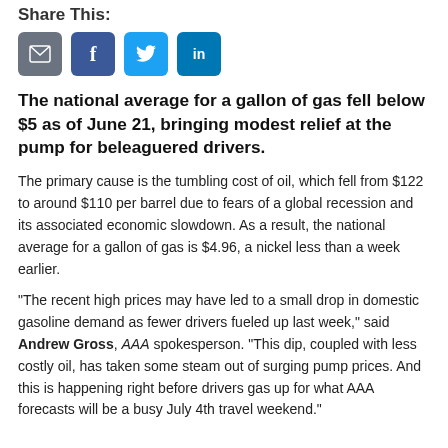Share This:
[Figure (other): Social share buttons: email (gray), Facebook (blue), Twitter (light blue), LinkedIn (dark blue)]
The national average for a gallon of gas fell below $5 as of June 21, bringing modest relief at the pump for beleaguered drivers.
The primary cause is the tumbling cost of oil, which fell from $122 to around $110 per barrel due to fears of a global recession and its associated economic slowdown. As a result, the national average for a gallon of gas is $4.96, a nickel less than a week earlier.
“The recent high prices may have led to a small drop in domestic gasoline demand as fewer drivers fueled up last week,” said Andrew Gross, AAA spokesperson. “This dip, coupled with less costly oil, has taken some steam out of surging pump prices. And this is happening right before drivers gas up for what AAA forecasts will be a busy July 4th travel weekend.”